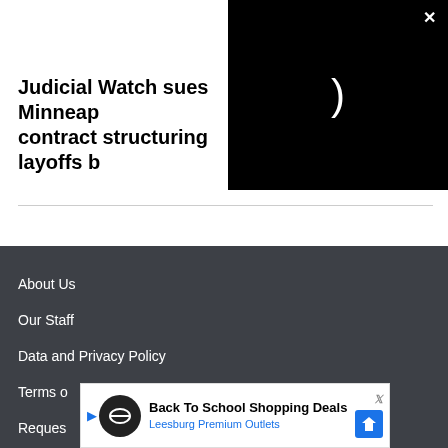Judicial Watch sues Minneapolis contract structuring layoffs b
[Figure (screenshot): Black video player overlay with loading spinner and close (X) button in top right corner]
About Us
Our Staff
Data and Privacy Policy
Terms o
Reques
[Figure (screenshot): Advertisement banner: Back To School Shopping Deals, Leesburg Premium Outlets, with Twitter/X logo and map icon]